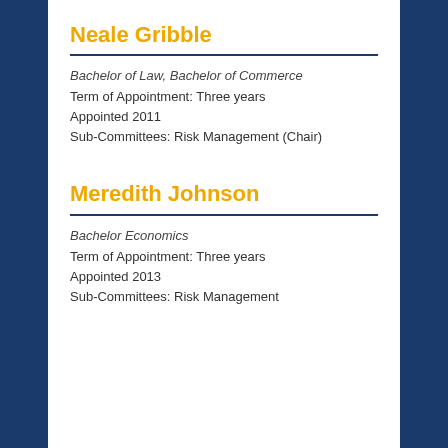Neale Gribble
Bachelor of Law, Bachelor of Commerce
Term of Appointment: Three years
Appointed 2011
Sub-Committees: Risk Management (Chair)
Meredith Johnson
Bachelor Economics
Term of Appointment: Three years
Appointed 2013
Sub-Committees: Risk Management